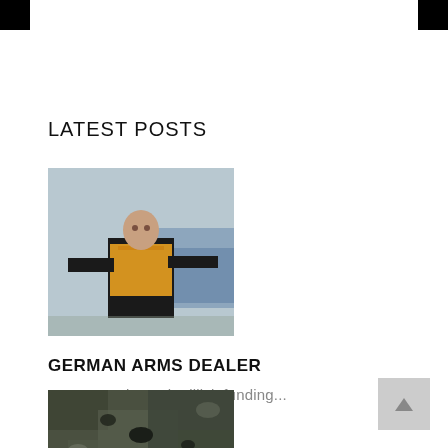LATEST POSTS
[Figure (photo): A man wearing a yellow-orange high-visibility vest holding what appears to be a weapon or tool, with a blurred vehicle in the background.]
GERMAN ARMS DEALER
In a new twist to the illicit funding...
August 26, 2022
[Figure (photo): A close-up image of camouflage-patterned military equipment or material with dark and mottled textures.]